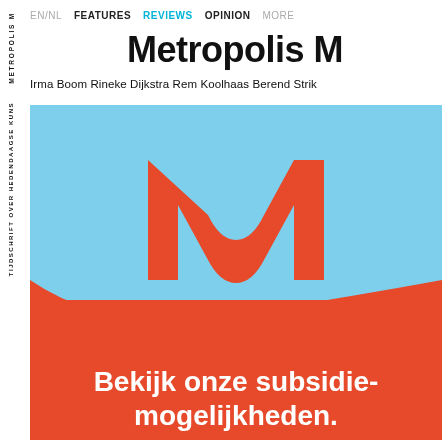EN/NL  FEATURES  REVIEWS  OPINION  MORE
Metropolis M
Irma Boom Rineke Dijkstra Rem Koolhaas Berend Strik
[Figure (advertisement): Mondriaan Fonds advertisement with light blue background on top half and orange-red on bottom half. Large orange-red M logo at top center, then 'mondriaan fonds' text in orange-red. Bottom section shows 'Bekijk onze subsidie-mogelijkheden.' in white bold text on orange-red background.]
METROPOLIS M  TIJDSCHRIFT OVER HEDENDAAGSE KUNS